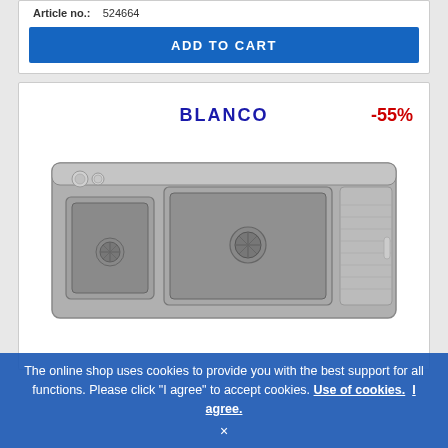Article no.: 524664
ADD TO CART
[Figure (screenshot): BLANCO kitchen sink product card with -55% discount badge. The sink is a grey/aluminum double-basin sink with draining board on the right side.]
BLANCO
-55%
The online shop uses cookies to provide you with the best support for all functions. Please click "I agree" to accept cookies. Use of cookies. I agree. ×